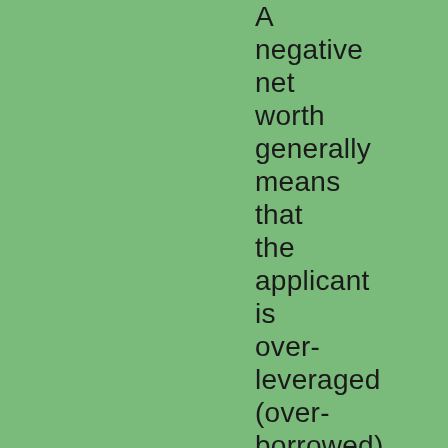A negative net worth generally means that the applicant is over-leveraged (over-borrowed) and could result in rejection. The prospective borrower